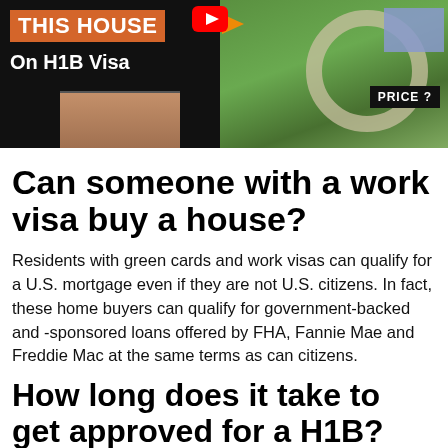[Figure (screenshot): YouTube thumbnail showing 'THIS HOUSE On H1B Visa' text on left with orange banner, aerial view of house on right with PRICE? badge, YouTube logo, family photo at bottom]
Can someone with a work visa buy a house?
Residents with green cards and work visas can qualify for a U.S. mortgage even if they are not U.S. citizens. In fact, these home buyers can qualify for government-backed and -sponsored loans offered by FHA, Fannie Mae and Freddie Mac at the same terms as can citizens.
How long does it take to get approved for a H1B?